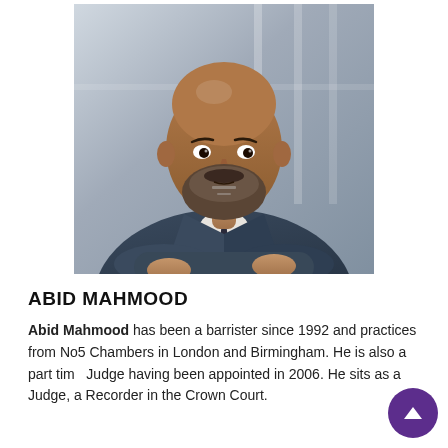[Figure (photo): Professional headshot of Abid Mahmood, a bald man with a grey-flecked beard, wearing a dark navy suit and tie with arms crossed, photographed against a light blurred background.]
ABID MAHMOOD
Abid Mahmood has been a barrister since 1992 and practices from No5 Chambers in London and Birmingham. He is also a part time Judge having been appointed in 2006. He sits as a Judge, a Recorder in the Crown Court.